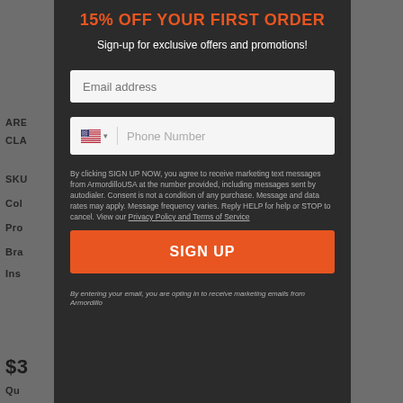15% OFF YOUR FIRST ORDER
Sign-up for exclusive offers and promotions!
Email address
Phone Number
By clicking SIGN UP NOW, you agree to receive marketing text messages from ArmordilloUSA at the number provided, including messages sent by autodialer. Consent is not a condition of any purchase. Message and data rates may apply. Message frequency varies. Reply HELP for help or STOP to cancel. View our Privacy Policy and Terms of Service
SIGN UP
By entering your email, you are opting in to receive marketing emails from Armordillo